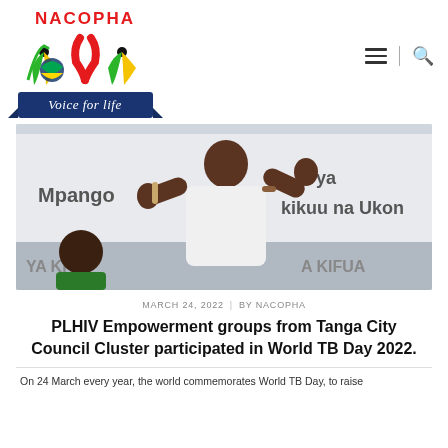[Figure (logo): NACOPHA logo with red HIV ribbon, two figures, Tanzanian flag colors, and blue banner reading 'Voice for life']
[Figure (photo): A person in a white shirt giving a thumbs up gesture at a public health event with banners reading 'Mpango', 'kikuu na Ukon', 'YA KIT', 'A KIFUA' and 'Arya' in the background]
MARCH 24, 2022  |  BY NACOPHA
PLHIV Empowerment groups from Tanga City Council Cluster participated in World TB Day 2022.
On 24 March every year, the world commemorates World TB Day, to raise